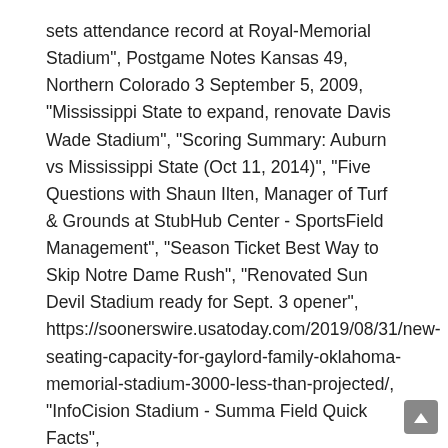sets attendance record at Royal-Memorial Stadium", Postgame Notes Kansas 49, Northern Colorado 3 September 5, 2009, "Mississippi State to expand, renovate Davis Wade Stadium", "Scoring Summary: Auburn vs Mississippi State (Oct 11, 2014)", "Five Questions with Shaun Ilten, Manager of Turf & Grounds at StubHub Center - SportsField Management", "Season Ticket Best Way to Skip Notre Dame Rush", "Renovated Sun Devil Stadium ready for Sept. 3 opener", https://soonerswire.usatoday.com/2019/08/31/new-seating-capacity-for-gaylord-family-oklahoma-memorial-stadium-3000-less-than-projected/, "InfoCision Stadium - Summa Field Quick Facts", http://www.cyclones.com/fls/10700/STATS/Football/2015_FB/teamcume.htm?DB_OEM_ID=10700#TEAM.TEM, "Stats: WVU vs Marshall (September 10, 2010)", "1-column colonnade beyond the north end zone that Tech regents approved last week. Football. Now in its fifth year, the football program has established itself in the National Junior College Athletic Association as an